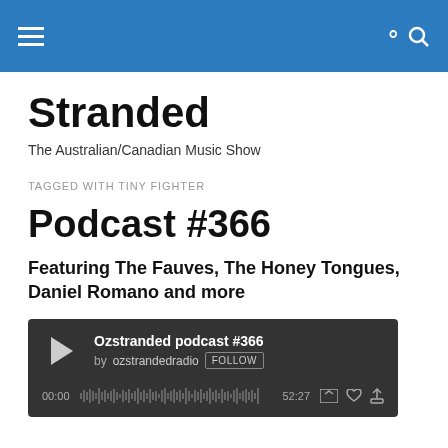Stranded — navigation header with hamburger menu and search icon
Stranded
The Australian/Canadian Music Show
TAGGED WITH TINY FIGHTER
Podcast #366
Featuring The Fauves, The Honey Tongues, Daniel Romano and more
[Figure (screenshot): Embedded audio player widget showing 'Ozstranded podcast #366' by ozstrandedradio with a FOLLOW button, play button, time counters 00:00 and 52:27, and player controls including heart and upload icons.]